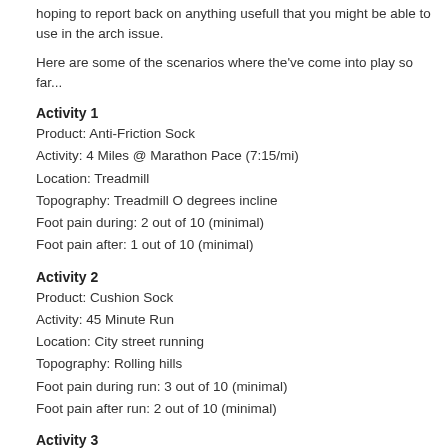hoping to report back on anything usefull that you might be able to use in the arch issue.
Here are some of the scenarios where the've come into play so far...
Activity 1
Product: Anti-Friction Sock
Activity: 4 Miles @ Marathon Pace (7:15/mi)
Location: Treadmill
Topography: Treadmill O degrees incline
Foot pain during: 2 out of 10 (minimal)
Foot pain after: 1 out of 10 (minimal)
Activity 2
Product: Cushion Sock
Activity: 45 Minute Run
Location: City street running
Topography: Rolling hills
Foot pain during run: 3 out of 10 (minimal)
Foot pain after run: 2 out of 10 (minimal)
Activity 3
Product: Cushion Sock
Activity: Walking the PGA Tour Championship
Location: East Lake Golf Course